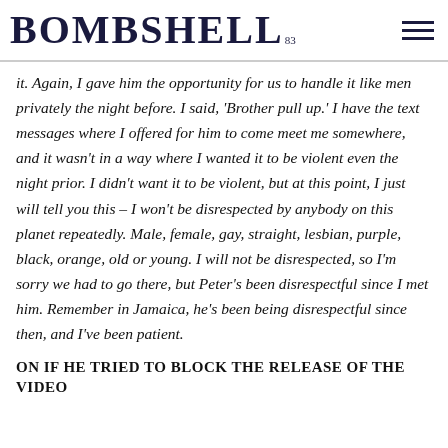BOMBSHELL
it. Again, I gave him the opportunity for us to handle it like men privately the night before. I said, 'Brother pull up.' I have the text messages where I offered for him to come meet me somewhere, and it wasn't in a way where I wanted it to be violent even the night prior. I didn't want it to be violent, but at this point, I just will tell you this – I won't be disrespected by anybody on this planet repeatedly. Male, female, gay, straight, lesbian, purple, black, orange, old or young. I will not be disrespected, so I'm sorry we had to go there, but Peter's been disrespectful since I met him. Remember in Jamaica, he's been being disrespectful since then, and I've been patient.
ON IF HE TRIED TO BLOCK THE RELEASE OF THE VIDEO